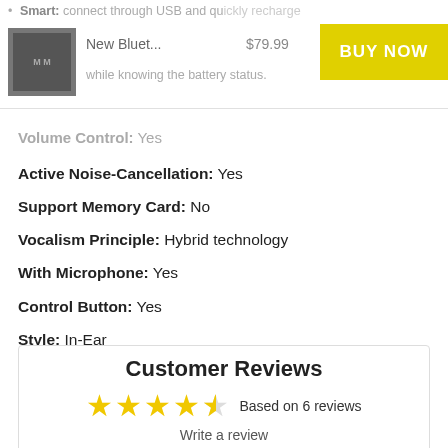Smart: connect through USB and quickly recharge while knowing the battery status.
[Figure (photo): Small product thumbnail image of a Bluetooth headset in gray/dark color]
New Bluet...   $79.99   BUY NOW
Volume Control: Yes
Active Noise-Cancellation: Yes
Support Memory Card: No
Vocalism Principle: Hybrid technology
With Microphone: Yes
Control Button: Yes
Style: In-Ear
Wireless Type: Bluetooth
Customer Reviews
★★★★☆ Based on 6 reviews
Write a review